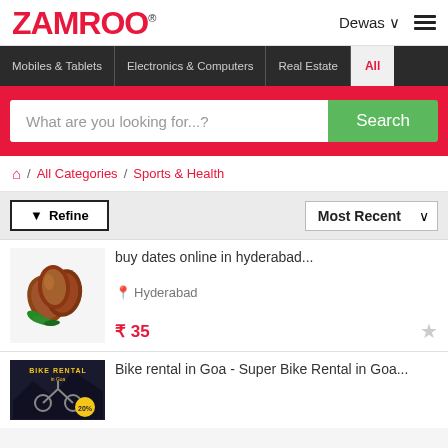ZAMROO® | Dewas | Menu
Mobiles & Tablets | Electronics & Computers | Real Estate | All
What are you looking for...? Search
Home / All Categories / Sports & Health
Refine | Most Recent
buy dates online in hyderabad...
Hyderabad
₹ 35
Bike rental in Goa - Super Bike Rental in Goa...